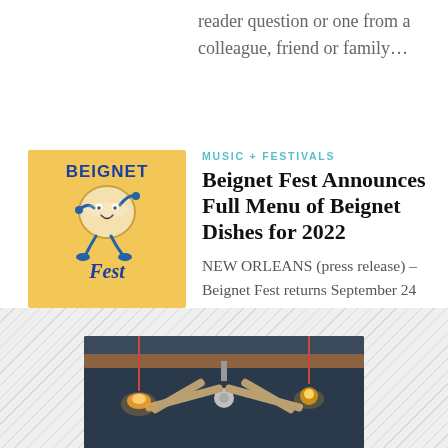reader question or one from a colleague, friend or family…
MUSIC + FESTIVALS
Beignet Fest Announces Full Menu of Beignet Dishes for 2022
[Figure (illustration): Beignet Fest logo — animated beignet character walking, text 'BEIGNET Fest' on yellow/golden background]
NEW ORLEANS (press release) – Beignnet Fest returns September 24 to New Orleans City Park with an array of vendors doing their take on the iconic…
[Figure (photo): Ceiling fan and pendant lights viewed from below against a dark ceiling]